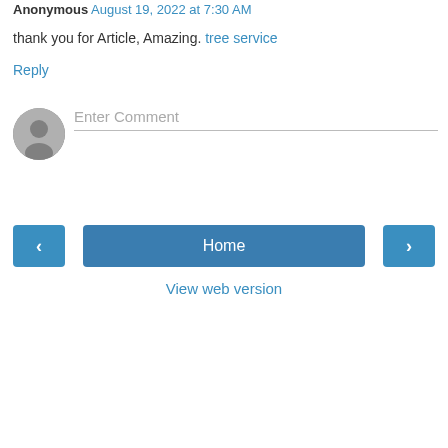Anonymous August 19, 2022 at 7:30 AM
thank you for Article, Amazing. tree service
Reply
[Figure (other): User avatar placeholder - grey silhouette circle]
Enter Comment
[Figure (screenshot): Navigation bar with left arrow button, Home button, and right arrow button]
View web version